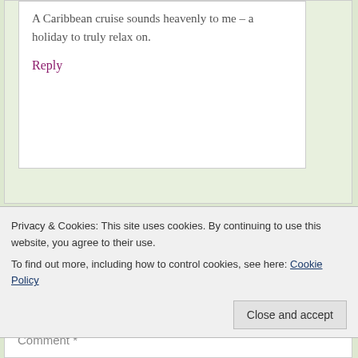A Caribbean cruise sounds heavenly to me – a holiday to truly relax on.
Reply
Privacy & Cookies: This site uses cookies. By continuing to use this website, you agree to their use.
To find out more, including how to control cookies, see here: Cookie Policy
Close and accept
Comment *